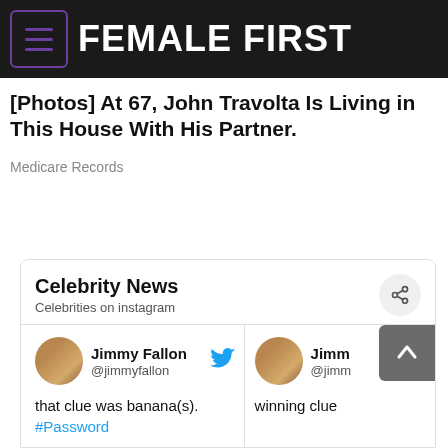FEMALE FIRST
[Photos] At 67, John Travolta Is Living in This House With His Partner.
Medicare Records
Celebrity News
Celebrities on instagram
Jimmy Fallon @jimmyfallon that clue was banana(s). #Password
Jimmy @jimm winning clue